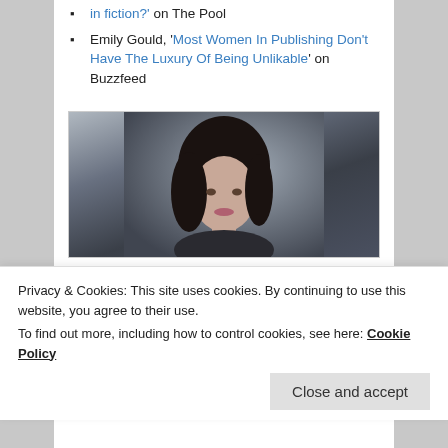in fiction?' on The Pool
Emily Gould, 'Most Women In Publishing Don't Have The Luxury Of Being Unlikable' on Buzzfeed
[Figure (photo): Portrait photo of a young woman with dark hair against a dark grey background]
Privacy & Cookies: This site uses cookies. By continuing to use this website, you agree to their use.
To find out more, including how to control cookies, see here: Cookie Policy
Close and accept